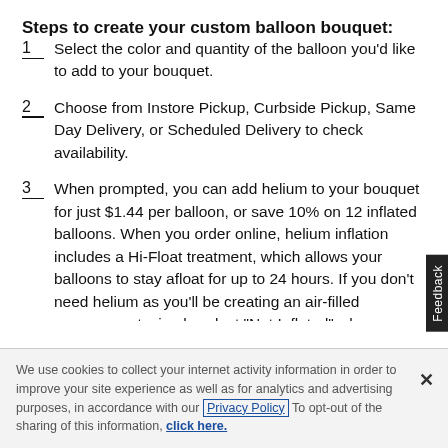Steps to create your custom balloon bouquet:
Select the color and quantity of the balloon you'd like to add to your bouquet.
Choose from Instore Pickup, Curbside Pickup, Same Day Delivery, or Scheduled Delivery to check availability.
When prompted, you can add helium to your bouquet for just $1.44 per balloon, or save 10% on 12 inflated balloons. When you order online, helium inflation includes a Hi-Float treatment, which allows your balloons to stay afloat for up to 24 hours. If you don't need helium as you'll be creating an air-filled arrangement, simply select "Not Inflated" when prompted.
We use cookies to collect your internet activity information in order to improve your site experience as well as for analytics and advertising purposes, in accordance with our Privacy Policy. To opt-out of the sharing of this information, click here.